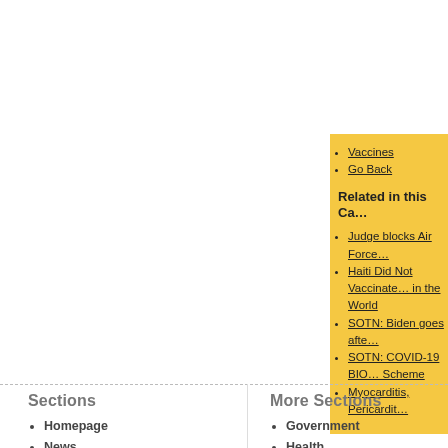Vaccines
Go Back
Related in this Ca…
Judge blocks Air Force…
Haiti Did Not Vaccinate… in the World
SOTN: Biden goes afte…
SOTN: COVID-19 BIO… Scheme
Myocarditis, Pericardit…
Sections
Homepage
News
Bellringer's Corner
Education
More Sections
Government
Health
History
Media